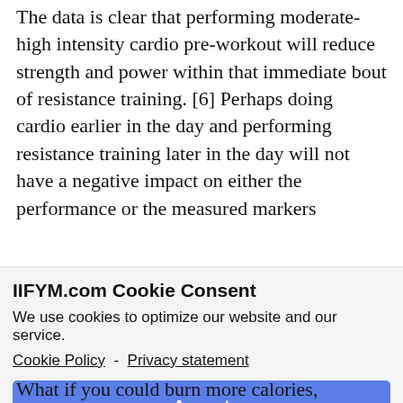The data is clear that performing moderate-high intensity cardio pre-workout will reduce strength and power within that immediate bout of resistance training. [6] Perhaps doing cardio earlier in the day and performing resistance training later in the day will not have a negative impact on either the performance or the measured markers
IIFYM.com Cookie Consent
We use cookies to optimize our website and our service.
Cookie Policy - Privacy statement
Accept
What if you could burn more calories,